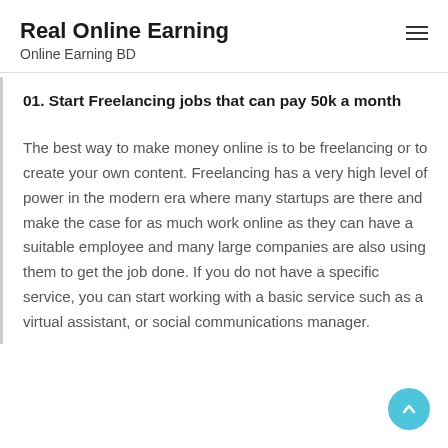Real Online Earning
Online Earning BD
01. Start Freelancing jobs that can pay 50k a month
The best way to make money online is to be freelancing or to create your own content. Freelancing has a very high level of power in the modern era where many startups are there and make the case for as much work online as they can have a suitable employee and many large companies are also using them to get the job done. If you do not have a specific service, you can start working with a basic service such as a virtual assistant, or social communications manager.